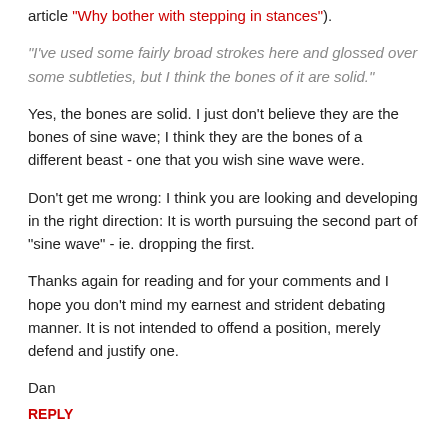article “Why bother with stepping in stances”).
“I’ve used some fairly broad strokes here and glossed over some subtleties, but I think the bones of it are solid.”
Yes, the bones are solid. I just don’t believe they are the bones of sine wave; I think they are the bones of a different beast - one that you wish sine wave were.
Don’t get me wrong: I think you are looking and developing in the right direction: It is worth pursuing the second part of “sine wave” - ie. dropping the first.
Thanks again for reading and for your comments and I hope you don’t mind my earnest and strident debating manner. It is not intended to offend a position, merely defend and justify one.
Dan
REPLY